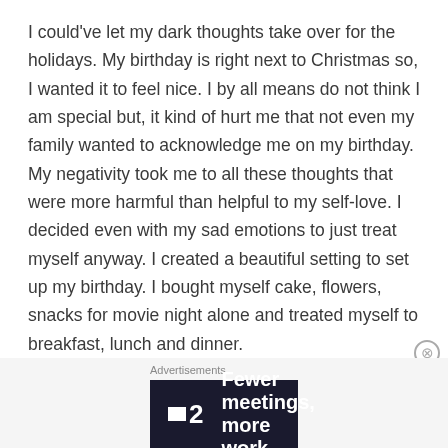I could've let my dark thoughts take over for the holidays. My birthday is right next to Christmas so, I wanted it to feel nice. I by all means do not think I am special but, it kind of hurt me that not even my family wanted to acknowledge me on my birthday. My negativity took me to all these thoughts that were more harmful than helpful to my self-love. I decided even with my sad emotions to just treat myself anyway. I created a beautiful setting to set up my birthday. I bought myself cake, flowers, snacks for movie night alone and treated myself to breakfast, lunch and dinner.
Advertisements
[Figure (other): Advertisement banner for F2 app: dark background with white logo and text 'Fewer meetings, more work.']